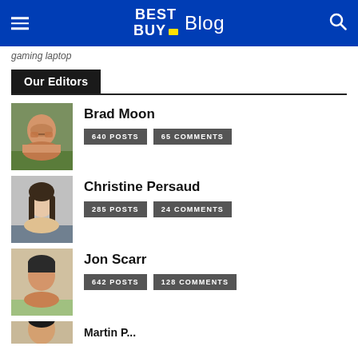Best Buy Blog
gaming laptop
Our Editors
Brad Moon — 640 POSTS, 65 COMMENTS
Christine Persaud — 285 POSTS, 24 COMMENTS
Jon Scarr — 642 POSTS, 128 COMMENTS
Martin Bernard (partial)